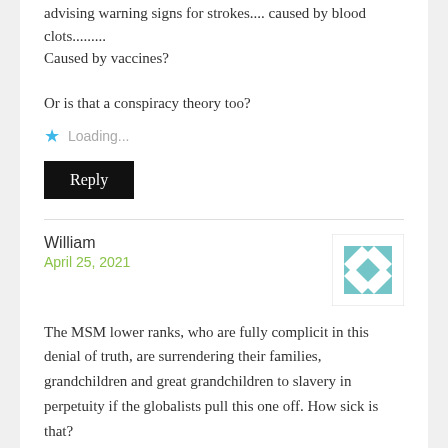advising warning signs for strokes.... caused by blood clots......... Caused by vaccines?

Or is that a conspiracy theory too?
Loading...
Reply
William
April 25, 2021
[Figure (illustration): Decorative avatar icon with teal/cyan geometric snowflake-like pattern on white background]
The MSM lower ranks, who are fully complicit in this denial of truth, are surrendering their families, grandchildren and great grandchildren to slavery in perpetuity if the globalists pull this one off. How sick is that?
The good news is that Martin Armstrongs (true) artificial intelligence computer program, Socrates, the